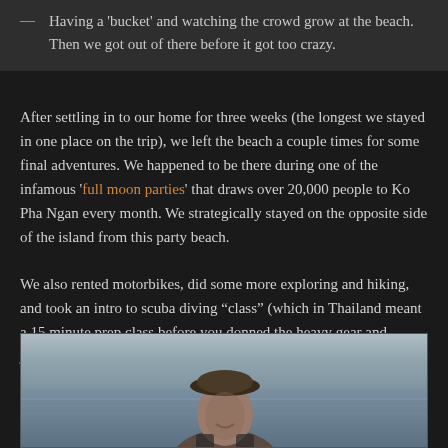— Having a 'bucket' and watching the crowd grow at the beach. Then we got out of there before it got too crazy.
After settling in to our home for three weeks (the longest we stayed in one place on the trip), we left the beach a couple times for some final adventures. We happened to be there during one of the infamous 'full moon parties' that draws over 20,000 people to Ko Pha Ngan every month. We strategically stayed on the opposite side of the island from this party beach.
We also rented motorbikes, did some more exploring and hiking, and took an intro to scuba diving “class” (which in Thailand meant a 15 minute prep class before you donned the heavy gear and jumped overboard in the middle of the ocean!).
[Figure (photo): A person on a boat with ocean/water in the background, wearing a cap, smiling toward the camera.]